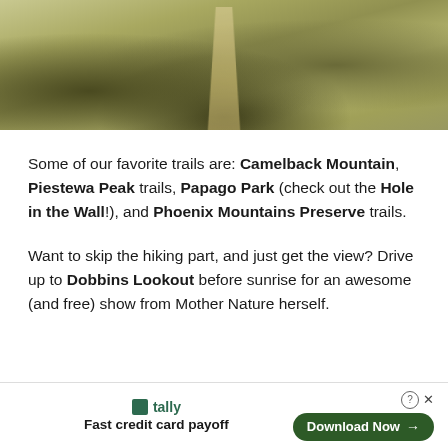[Figure (photo): A sepia-toned photograph of a desert hiking trail winding through scrubby desert vegetation and rocky terrain]
Some of our favorite trails are: Camelback Mountain, Piestewa Peak trails, Papago Park (check out the Hole in the Wall!), and Phoenix Mountains Preserve trails.
Want to skip the hiking part, and just get the view? Drive up to Dobbins Lookout before sunrise for an awesome (and free) show from Mother Nature herself.
[Figure (other): Advertisement banner for Tally app — Fast credit card payoff — with Download Now button]